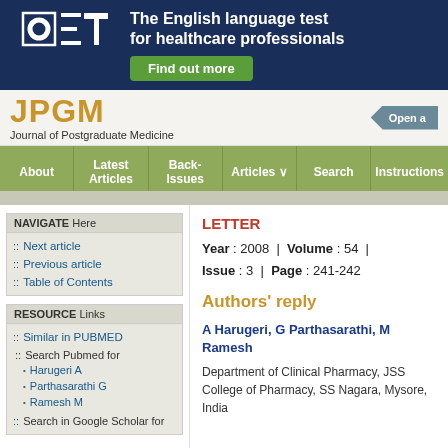[Figure (other): OET advertisement banner — The English language test for healthcare professionals. Find out more button.]
JPGM — Journal of Postgraduate Medicine
About | Latest Articles | Back-Issues | Articles | Search | Instructions
NAVIGATE Here
:: Next article
:: Previous article
:: Table of Contents
RESOURCE Links
:: Similar in PUBMED
:: Search Pubmed for
Harugeri A
Parthasarathi G
Ramesh M
:: Search in Google Scholar for
LETTER
Year : 2008  |  Volume : 54  |  Issue : 3  |  Page : 241-242
Authors' reply
A Harugeri, G Parthasarathi, M Ramesh
Department of Clinical Pharmacy, JSS College of Pharmacy, SS Nagara, Mysore, India